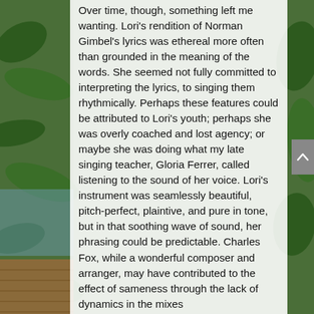[Figure (photo): Background photo of green plants and wooden deck/outdoor setting, visible on left and right sides behind white semi-transparent text panel.]
Over time, though, something left me wanting. Lori's rendition of Norman Gimbel's lyrics was ethereal more often than grounded in the meaning of the words. She seemed not fully committed to interpreting the lyrics, to singing them rhythmically. Perhaps these features could be attributed to Lori's youth; perhaps she was overly coached and lost agency; or maybe she was doing what my late singing teacher, Gloria Ferrer, called listening to the sound of her voice. Lori's instrument was seamlessly beautiful, pitch-perfect, plaintive, and pure in tone, but in that soothing wave of sound, her phrasing could be predictable. Charles Fox, while a wonderful composer and arranger, may have contributed to the effect of sameness through the lack of dynamics in the mixes